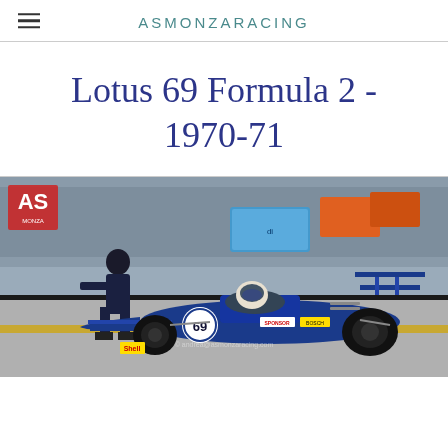ASMONZARACING
Lotus 69 Formula 2 - 1970-71
[Figure (photo): A blue Lotus 69 Formula 2 racing car (number 69) in the pit lane, with a driver in helmet seated in the cockpit and a person crouching nearby. The AS Monza Racing watermark logo is visible in the top left of the photo. Pit lane environment with concrete floor and yellow line markings.]